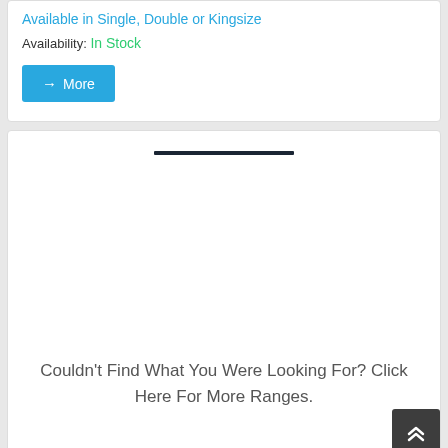Available in Single, Double or Kingsize
Availability: In Stock
→ More
[Figure (other): Dark horizontal divider line centered in white card]
Couldn't Find What You Were Looking For? Click Here For More Ranges.